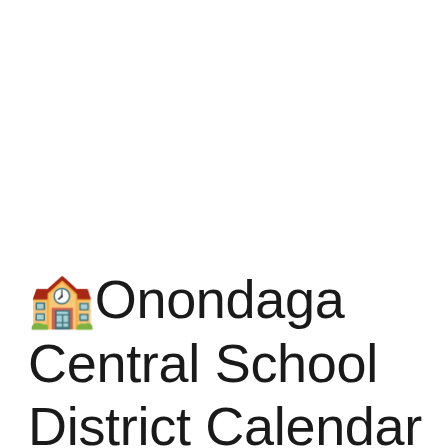🏫Onondaga Central School District Calendar 2060-2061♥